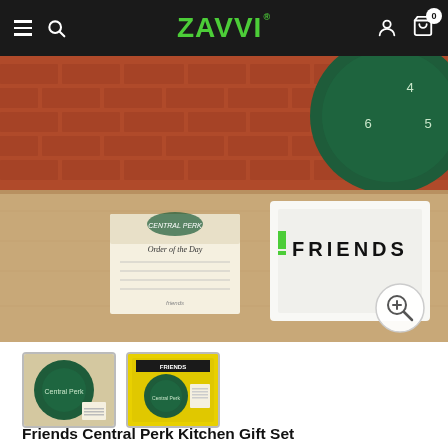Zavvi — navigation bar with hamburger menu, search, logo, account, and cart icons
[Figure (photo): Friends Central Perk Kitchen Gift Set product photo showing a notepad labelled 'Order of the day', a folded white tea towel with FRIENDS logo, and a dark green clock, all placed on a wooden table against a brick wall background. A zoom magnifier button is visible in the bottom right.]
[Figure (photo): Thumbnail 1: product displayed from above showing clock, notepad and accessories]
[Figure (photo): Thumbnail 2: product in packaging box with yellow background and Friends branding]
Friends Central Perk Kitchen Gift Set